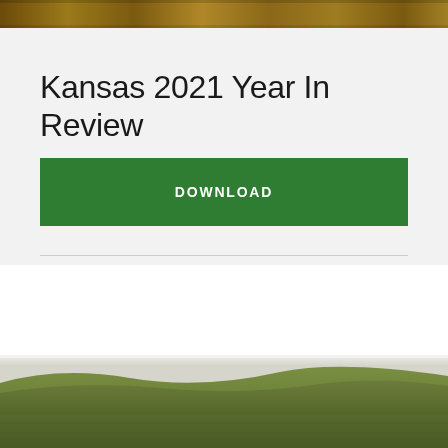[Figure (photo): Narrow brown/tan landscape photo strip at top of page]
Kansas 2021 Year In Review
DOWNLOAD
[Figure (photo): Kansas grassland landscape photo at bottom of page, showing rolling green hills]